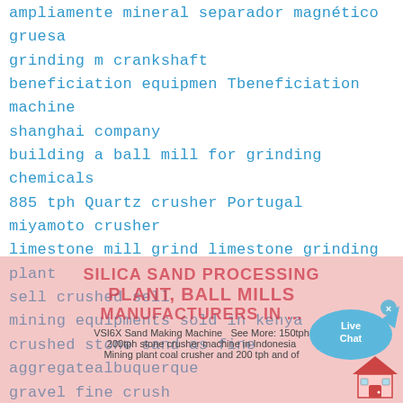ampliamente mineral separador magnético gruesa
grinding m crankshaft
beneficiation equipmen Tbeneficiation machine
shanghai company
building a ball mill for grinding chemicals
885 tph Quartz crusher Portugal
miyamoto crusher
limestone mill grind limestone grinding plant
sell crushed sell
mining equipments sold in kenya
crushed stone sand as fine aggregatealbuquerque
gravel fine crush
stone crusher project details mexico
manganese ore european version of crushing machinery
sale stone crusher s in algeria
Jaw Crusher Gold Extraction Crusher Diagram
mining codes washing
stone crusher machine in iran
[Figure (other): Live Chat bubble icon with blue fish/bird shape and 'Live Chat' text, with X close button]
[Figure (other): Pink semi-transparent overlay with bold red text: SILICA SAND PROCESSING PLANT, BALL MILLS, MANUFACTURERS IN ... and secondary text: VSI6X Sand Making Machine See More: 150tph, 200tph stone crusher machine in Indonesia, Mining plant coal crusher and 200 tph and of]
[Figure (illustration): Small house/home icon in bottom right corner]